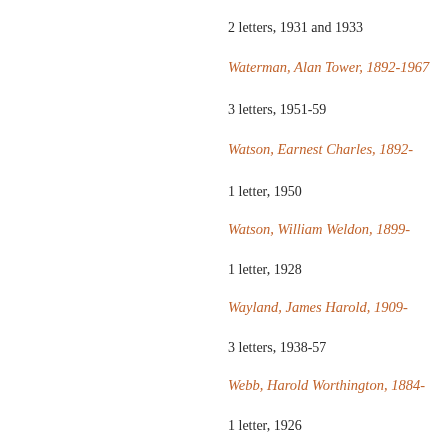2 letters, 1931 and 1933
Waterman, Alan Tower, 1892-1967
3 letters, 1951-59
Watson, Earnest Charles, 1892-
1 letter, 1950
Watson, William Weldon, 1899-
1 letter, 1928
Wayland, James Harold, 1909-
3 letters, 1938-57
Webb, Harold Worthington, 1884-
1 letter, 1926
Weber, Alfred Herman, 1906-